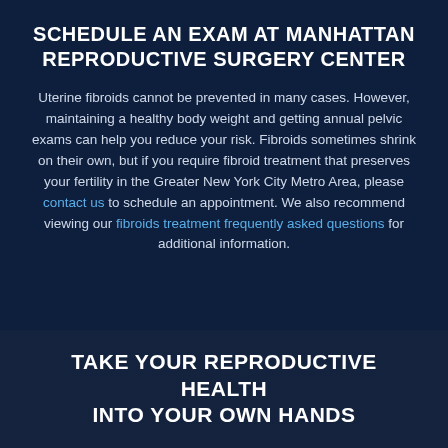SCHEDULE AN EXAM AT MANHATTAN REPRODUCTIVE SURGERY CENTER
Uterine fibroids cannot be prevented in many cases. However, maintaining a healthy body weight and getting annual pelvic exams can help you reduce your risk. Fibroids sometimes shrink on their own, but if you require fibroid treatment that preserves your fertility in the Greater New York City Metro Area, please contact us to schedule an appointment. We also recommend viewing our fibroids treatment frequently asked questions for additional information.
TAKE YOUR REPRODUCTIVE HEALTH INTO YOUR OWN HANDS